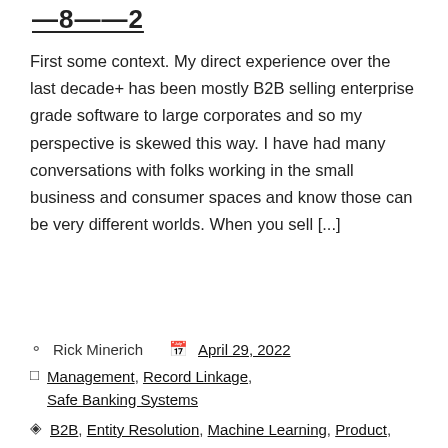—8——2
First some context. My direct experience over the last decade+ has been mostly B2B selling enterprise grade software to large corporates and so my perspective is skewed this way. I have had many conversations with folks working in the small business and consumer spaces and know those can be very different worlds. When you sell [...]
Rick Minerich   April 29, 2022
Management, Record Linkage, Safe Banking Systems
B2B, Entity Resolution, Machine Learning, Product,